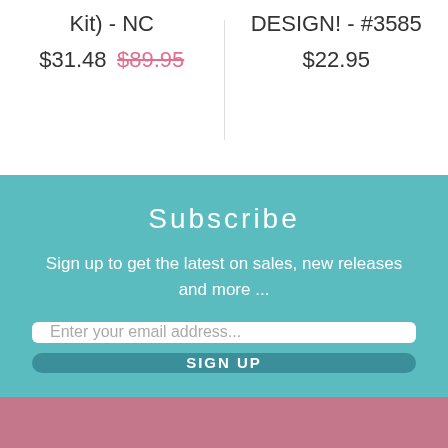Kit) - NC
DESIGN! - #3585
$31.48 $89.95
$22.95
Subscribe
Sign up to get the latest on sales, new releases and more ...
Enter your email address...
SIGN UP